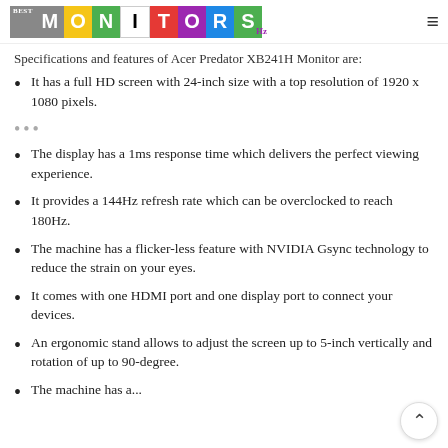Best Monitors Hz
Specifications and features of Acer Predator XB241H Monitor are:
It has a full HD screen with 24-inch size with a top resolution of 1920 x 1080 pixels.
The display has a 1ms response time which delivers the perfect viewing experience.
It provides a 144Hz refresh rate which can be overclocked to reach 180Hz.
The machine has a flicker-less feature with NVIDIA Gsync technology to reduce the strain on your eyes.
It comes with one HDMI port and one display port to connect your devices.
An ergonomic stand allows to adjust the screen up to 5-inch vertically and rotation of up to 90-degree.
The machine has...